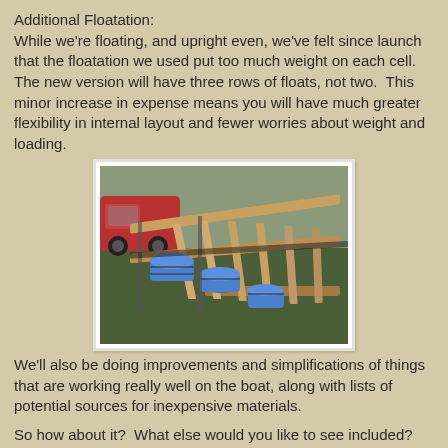Additional Floatation:
While we're floating, and upright even, we've felt since launch that the floatation we used put too much weight on each cell.  The new version will have three rows of floats, not two.  This minor increase in expense means you will have much greater flexibility in internal layout and fewer worries about weight and loading.
[Figure (photo): A wooden frame structure with blue barrels/drums laid underneath, sitting on grass. A red car is partially visible in the background. The frame appears to be a pontoon or flotation platform under construction.]
We'll also be doing improvements and simplifications of things that are working really well on the boat, along with lists of potential sources for inexpensive materials.
So how about it?  What else would you like to see included?  Cooking recipes?  Pet doors?  Giant Squid repellent?  Please let us know in the comments below.